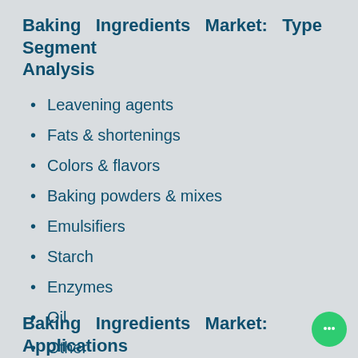Baking Ingredients Market: Type Segment Analysis
Leavening agents
Fats & shortenings
Colors & flavors
Baking powders & mixes
Emulsifiers
Starch
Enzymes
Oil
Other
Baking Ingredients Market: Applications